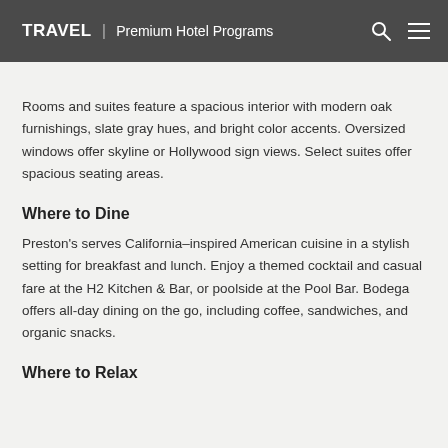TRAVEL | Premium Hotel Programs
Rooms and suites feature a spacious interior with modern oak furnishings, slate gray hues, and bright color accents. Oversized windows offer skyline or Hollywood sign views. Select suites offer spacious seating areas.
Where to Dine
Preston's serves California–inspired American cuisine in a stylish setting for breakfast and lunch. Enjoy a themed cocktail and casual fare at the H2 Kitchen & Bar, or poolside at the Pool Bar. Bodega offers all-day dining on the go, including coffee, sandwiches, and organic snacks.
Where to Relax